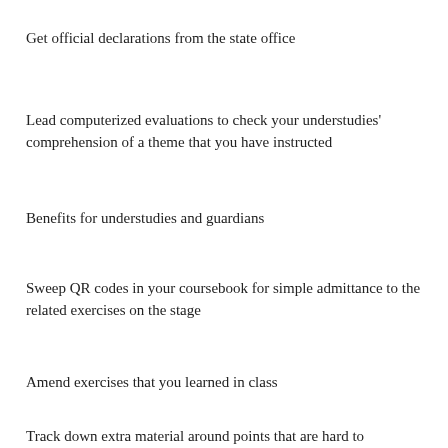Get official declarations from the state office
Lead computerized evaluations to check your understudies' comprehension of a theme that you have instructed
Benefits for understudies and guardians
Sweep QR codes in your coursebook for simple admittance to the related exercises on the stage
Amend exercises that you learned in class
Track down extra material around points that are hard to